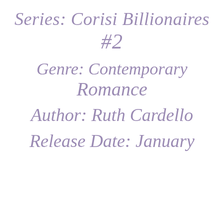Series: Corisi Billionaires #2
Genre: Contemporary Romance
Author: Ruth Cardello
Release Date: January